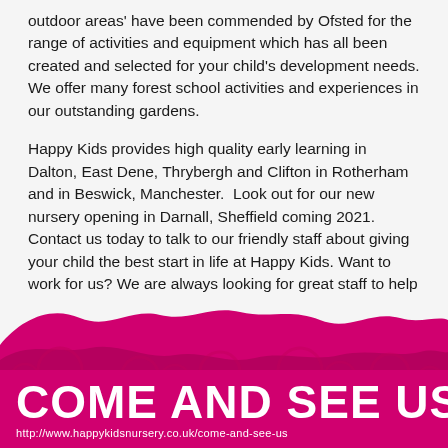outdoor areas' have been commended by Ofsted for the range of activities and equipment which has all been created and selected for your child's development needs. We offer many forest school activities and experiences in our outstanding gardens.
Happy Kids provides high quality early learning in Dalton, East Dene, Thrybergh and Clifton in Rotherham and in Beswick, Manchester. Look out for our new nursery opening in Darnall, Sheffield coming 2021. Contact us today to talk to our friendly staff about giving your child the best start in life at Happy Kids. Want to work for us? We are always looking for great staff to help us and our children develop. Check out our latest vacancies here.
[Figure (illustration): Wavy pink/magenta decorative splash graphic acting as a transition between the content area and the footer bar]
COME AND SEE US
http://www.happykidsnursery.co.uk/come-and-see-us